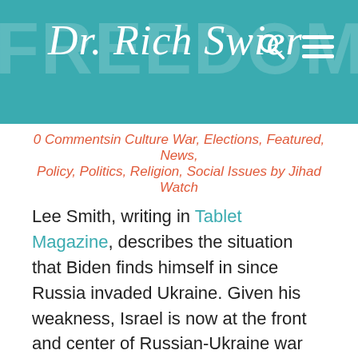Dr. Rich Swier
0 Commentsin Culture War, Elections, Featured, News, Policy, Politics, Religion, Social Issues by Jihad Watch
Lee Smith, writing in Tablet Magazine, describes the situation that Biden finds himself in since Russia invaded Ukraine. Given his weakness, Israel is now at the front and center of Russian-Ukraine war negotiations. Biden is putting Israel in the line of fire, as Smith points out.
At the end of last month, former Israeli Prime Minister Benjamin Netanyahu called upon the Israeli government to “be quiet on Russia”